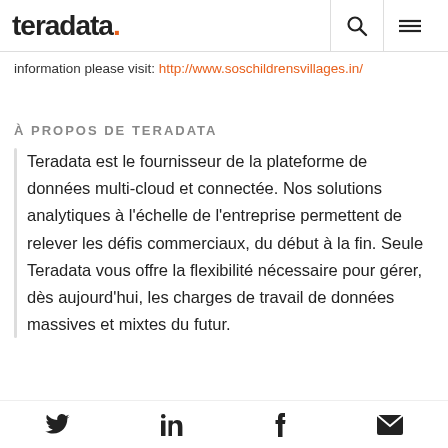teradata.
information please visit: http://www.soschildrensvillages.in/
À PROPOS DE TERADATA
Teradata est le fournisseur de la plateforme de données multi-cloud et connectée. Nos solutions analytiques à l'échelle de l'entreprise permettent de relever les défis commerciaux, du début à la fin. Seule Teradata vous offre la flexibilité nécessaire pour gérer, dès aujourd'hui, les charges de travail de données massives et mixtes du futur.
Twitter LinkedIn Facebook Email